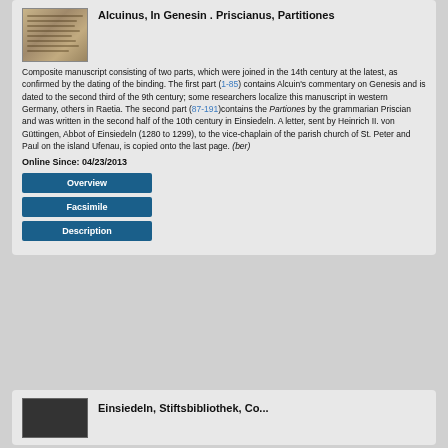[Figure (photo): Thumbnail image of a medieval manuscript page with handwritten text]
Alcuinus, In Genesin . Priscianus, Partitiones
Composite manuscript consisting of two parts, which were joined in the 14th century at the latest, as confirmed by the dating of the binding. The first part (1-85) contains Alcuin's commentary on Genesis and is dated to the second third of the 9th century; some researchers localize this manuscript in western Germany, others in Raetia. The second part (87-191)contains the Partiones by the grammarian Priscian and was written in the second half of the 10th century in Einsiedeln. A letter, sent by Heinrich II. von Güttingen, Abbot of Einsiedeln (1280 to 1299), to the vice-chaplain of the parish church of St. Peter and Paul on the island Ufenau, is copied onto the last page. (ber)
Online Since: 04/23/2013
Overview
Facsimile
Description
[Figure (photo): Thumbnail of a second manuscript entry, dark/black image]